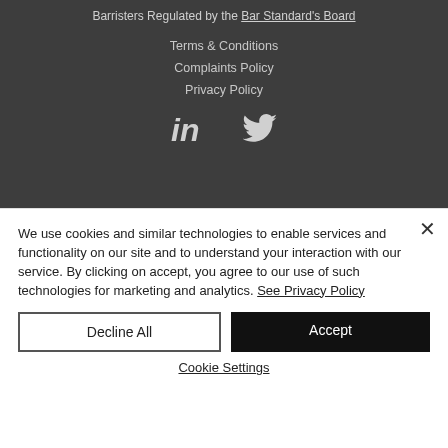Barristers Regulated by the Bar Standard's Board
Terms & Conditions
Complaints Policy
Privacy Policy
[Figure (illustration): LinkedIn and Twitter social media icons in light grey on dark background]
We use cookies and similar technologies to enable services and functionality on our site and to understand your interaction with our service. By clicking on accept, you agree to our use of such technologies for marketing and analytics. See Privacy Policy
Decline All
Accept
Cookie Settings